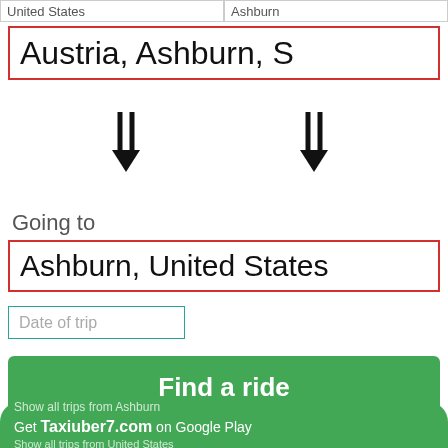United States   |   Ashburn
Austria, Ashburn,  S
[Figure (infographic): Two downward double arrows indicating direction flow]
Going to
Ashburn, United States
Date of trip
Find a ride
T
Show all trips from Ashburn
Get Taxiuber7.com on Google Play
Show all trips from United States